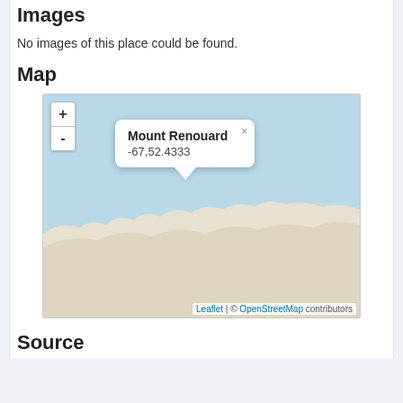Images
No images of this place could be found.
Map
[Figure (map): Interactive Leaflet map showing Mount Renouard at coordinates -67,52.4333, with ocean (light blue) in upper portion and land (beige) in lower portion. Zoom controls (+/-) visible top-left. A popup tooltip displays 'Mount Renouard' and '-67,52.4333'. Attribution: Leaflet | © OpenStreetMap contributors.]
Source